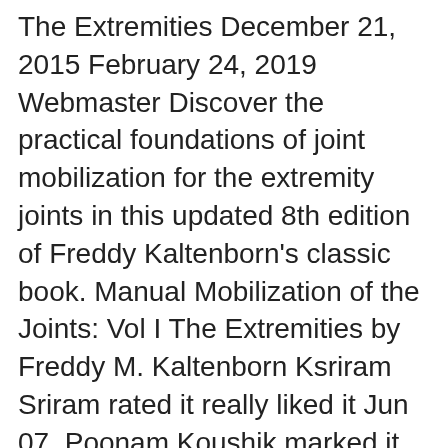The Extremities December 21, 2015 February 24, 2019 Webmaster Discover the practical foundations of joint mobilization for the extremity joints in this updated 8th edition of Freddy Kaltenborn's classic book. Manual Mobilization of the Joints: Vol I The Extremities by Freddy M. Kaltenborn Ksriram Sriram rated it really liked it Jun 07, Poonam Koushik marked it as to-read Nov 15, Want to Read saving.... Christina Fuji added it Jul 11, Refresh and try again.
Manual Mobilization of the Joints, Volume II: The Spine (607-7) [Freddy Kaltenborn] on Amazon.com. *FREE* shipping on qualifying offers. Freddy